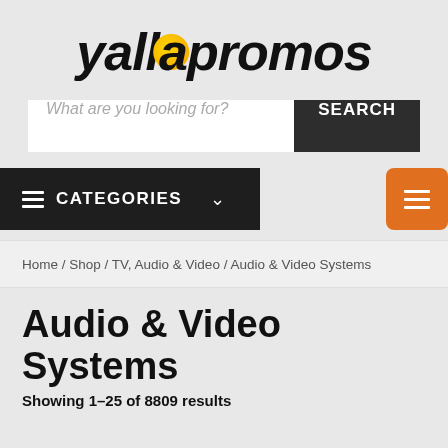[Figure (logo): yallapromos logo in bold italic black font with yellow/orange circle accent on the letter 'a']
What are you looking for?
SEARCH
CATEGORIES
Home / Shop / TV, Audio & Video / Audio & Video Systems
Audio & Video Systems
Showing 1–25 of 8809 results